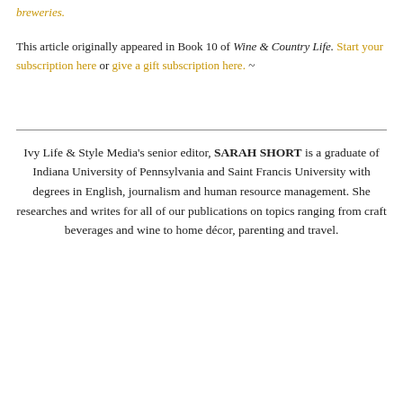breweries.
This article originally appeared in Book 10 of Wine & Country Life. Start your subscription here or give a gift subscription here. ~
Ivy Life & Style Media's senior editor, SARAH SHORT is a graduate of Indiana University of Pennsylvania and Saint Francis University with degrees in English, journalism and human resource management. She researches and writes for all of our publications on topics ranging from craft beverages and wine to home décor, parenting and travel.